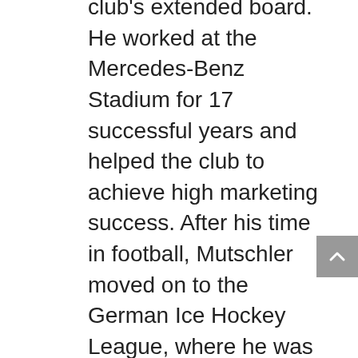club's extended board. He worked at the Mercedes-Benz Stadium for 17 successful years and helped the club to achieve high marketing success. After his time in football, Mutschler moved on to the German Ice Hockey League, where he was head of marketing and sponsoring at the second division club Towerstars Ravensburg. He returned to Stuttgart in 2019 at the request of the club's advisory board, which wanted Mutschler to become a member of the executive committee. But things turned out differently: the 60-year-old became head of the VfB's youth performance centre at the request of former German national team player Thomas Hitzelsperger.